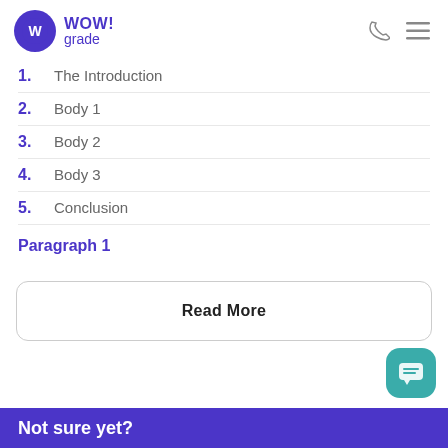WOW! grade
1.  The Introduction
2.  Body 1
3.  Body 2
4.  Body 3
5.  Conclusion
Paragraph 1
Read More
Not sure yet?